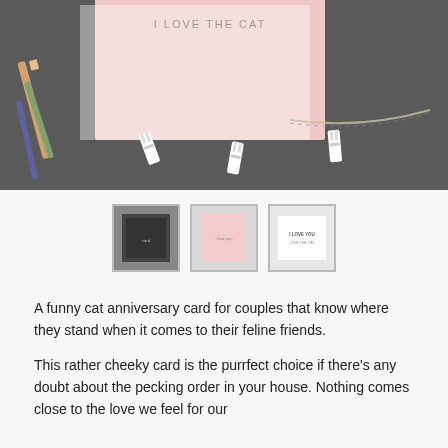[Figure (photo): Top-down flat lay photo of a pink greeting card reading 'I LOVE THE CAT', with small wooden clothespins, a striped twine/cord, and colored pencils arranged on a dark grey background.]
[Figure (photo): Three thumbnail images: first shows a dark framed card, second shows the pink card close-up, third shows a card reading 'I LOVE YOU / LOVE THE CAT'.]
A funny cat anniversary card for couples that know where they stand when it comes to their feline friends.
This rather cheeky card is the purrfect choice if there's any doubt about the pecking order in your house. Nothing comes close to the love we feel for our